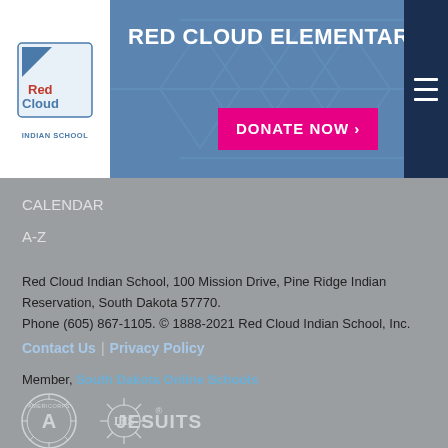RED CLOUD ELEMENTARY SCHOOL
CALENDAR
A-Z
Red Cloud Indian School, 100 Mission Drive, Pine Ridge Indian Reservation, South Dakota 57770. Phone (605) 867-1105. © 1888-2021 Red Cloud Indian School, Inc.
Contact Us | Privacy Policy
Member, South Dakota Online Schools
This institution is an equal opportunity provider and employer.
USDA Non-Discrimination Statement
[Figure (logo): AmeriCorps logo (circular badge with A) and IHS Jesuits logo at bottom of page]